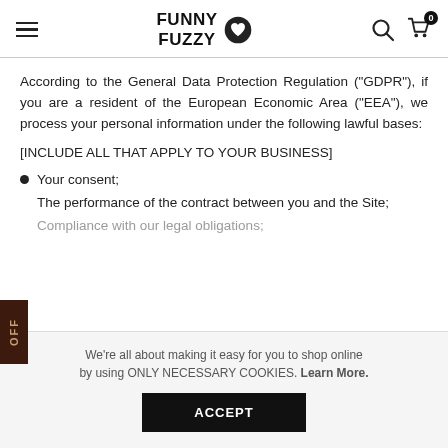FUNNY FUZZY
According to the General Data Protection Regulation ("GDPR"), if you are a resident of the European Economic Area ("EEA"), we process your personal information under the following lawful bases:
[INCLUDE ALL THAT APPLY TO YOUR BUSINESS]
Your consent;
The performance of the contract between you and the Site;
Compliance with our legal obligations;
We're all about making it easy for you to shop online by using ONLY NECESSARY COOKIES. Learn More.
ACCEPT